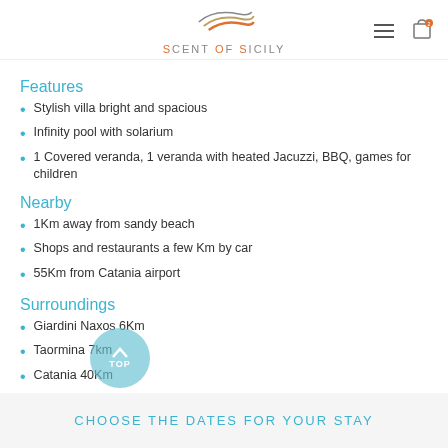Scent of Sicily — navigation header with logo, email icon, hamburger menu, and cart
Features
Stylish villa bright and spacious
Infinity pool with solarium
1 Covered veranda, 1 veranda with heated Jacuzzi, BBQ, games for children
Nearby
1Km away from sandy beach
Shops and restaurants a few Km by car
55Km from Catania airport
Surroundings
Giardini Naxos 6Km
Taormina 7km
Catania 40Km
CHOOSE THE DATES FOR YOUR STAY